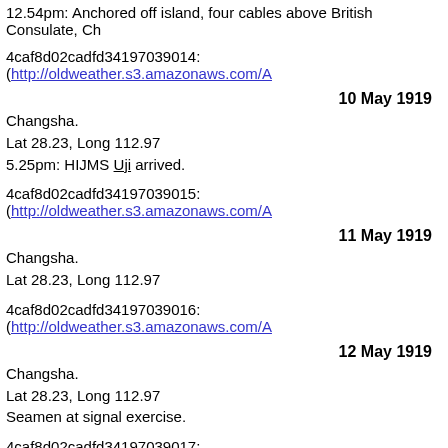12.54pm: Anchored off island, four cables above British Consulate, Ch
4caf8d02cadfd34197039014: (http://oldweather.s3.amazonaws.com/A
10 May 1919
Changsha.
Lat 28.23, Long 112.97
5.25pm: HIJMS Uji arrived.
4caf8d02cadfd34197039015: (http://oldweather.s3.amazonaws.com/A
11 May 1919
Changsha.
Lat 28.23, Long 112.97
4caf8d02cadfd34197039016: (http://oldweather.s3.amazonaws.com/A
12 May 1919
Changsha.
Lat 28.23, Long 112.97
Seamen at signal exercise.
4caf8d02cadfd34197039017: (http://oldweather.s3.amazonaws.com/A
13 May 1919
Changsha.
Lat 28.23, Long 112.97
Received 40 tons of coal from lighters.
4caf8d02cadfd34197039018: (http://oldweather.s3.amazonaws.com/A